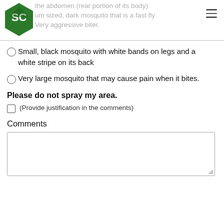the abdomen (rear portion of its body) medium sized, dark mosquito that is a fast flyer. Very aggressive biter.
Small, black mosquito with white bands on legs and a white stripe on its back
Very large mosquito that may cause pain when it bites.
Please do not spray my area.
(Provide justification in the comments)
Comments